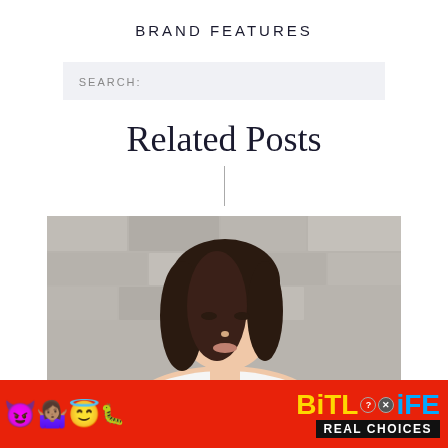BRAND FEATURES
SEARCH:
Related Posts
[Figure (photo): Portrait photo of an Asian woman with dark straight hair, wearing a white top, standing in front of a stone wall background.]
[Figure (infographic): BitLife advertisement banner with colorful emojis (devil, woman shrugging, angel, sperm), BitLife logo in yellow and blue, and 'REAL CHOICES' text on black background, all on a red background.]